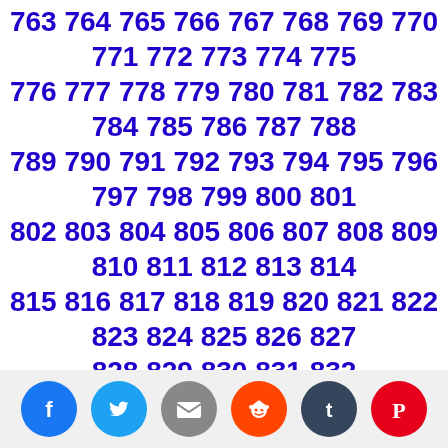763 764 765 766 767 768 769 770 771 772 773 774 775 776 777 778 779 780 781 782 783 784 785 786 787 788 789 790 791 792 793 794 795 796 797 798 799 800 801 802 803 804 805 806 807 808 809 810 811 812 813 814 815 816 817 818 819 820 821 822 823 824 825 826 827 828 829 830 831 832
Balance equation of any chemical reaction online for free
Equations balanced on the previous day    Equations balanced on the next day
Equations balanced on 02/04/18
Equations balanced on 01/12/18
Equations balanced on 02/11/17
Deixe seu comentário sobre a sua experiência com o balanceador de equação química.
Como citar?
[Figure (infographic): Social media sharing icons: Facebook (blue), Twitter (cyan), Email (gray), Reddit (orange), Tumblr (dark navy), Pinterest (red)]